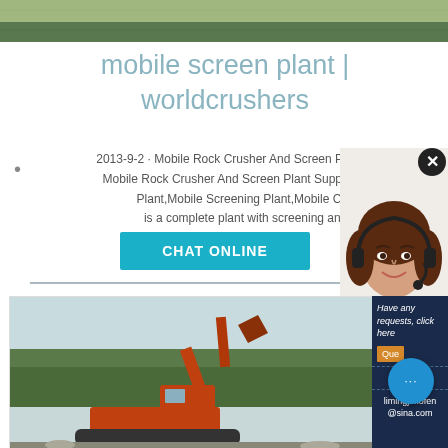[Figure (photo): Top banner image showing outdoor/nature scene (green foliage/landscape)]
mobile screen plant | worldcrushers
2013-9-2 · Mobile Rock Crusher And Screen Plant Manufacturers & Mobile Rock Crusher And Screen Plant Suppliers Mobile Crushing Plant,Mobile Screening Plant,Mobile Crushers Mobil is a complete plant with screening and crushing pa
[Figure (photo): Customer service representative - woman with headset smiling]
CHAT ONLINE
[Figure (photo): Excavator / construction equipment at a quarry or job site with forest in background]
Have any requests, click here
Que
Enquiry
limingjlmofen @sina.com